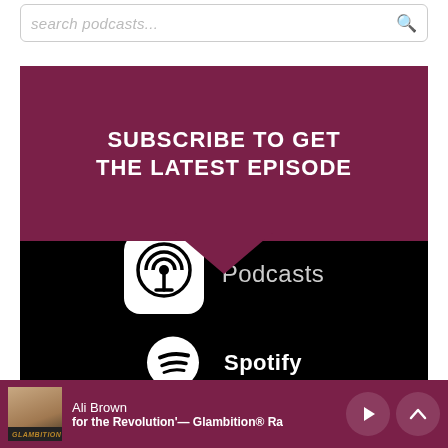[Figure (screenshot): Search bar with placeholder text 'search podcasts...' and search icon]
SUBSCRIBE TO GET THE LATEST EPISODE
[Figure (screenshot): Black section with Apple Podcasts icon and label, and partial Spotify logo]
Ali Brown — for the Revolution' — Glambition® Ra